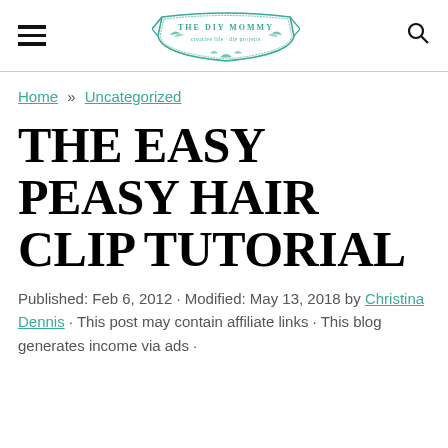THE DIY MOMMY (logo with hamburger menu and search icon)
Home » Uncategorized
THE EASY PEASY HAIR CLIP TUTORIAL
Published: Feb 6, 2012 · Modified: May 13, 2018 by Christina Dennis · This post may contain affiliate links · This blog generates income via ads ·